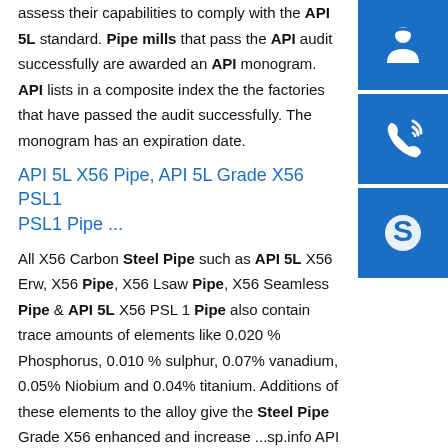assess their capabilities to comply with the API 5L standard. Pipe mills that pass the API audit successfully are awarded an API monogram. API lists in a composite index the factories that have passed the audit successfully. The monogram has an expiration date.
API 5L X56 Pipe, API 5L Grade X56 PSL1 PSL1 Pipe ...
All X56 Carbon Steel Pipe such as API 5L X56 Erw, X56 Pipe, X56 Lsaw Pipe, X56 Seamless Pipe & API 5L X56 PSL 1 Pipe also contain trace amounts of elements like 0.020 % Phosphorus, 0.010 % sulphur, 0.07% vanadium, 0.05% Niobium and 0.04% titanium. Additions of these elements to the alloy give the Steel Pipe Grade X56 enhanced and increase ...sp.info API 5L PSL1|PSL2 Line Pipe
[Figure (infographic): Three blue sidebar buttons: headset/support icon, phone/call icon, Skype icon]